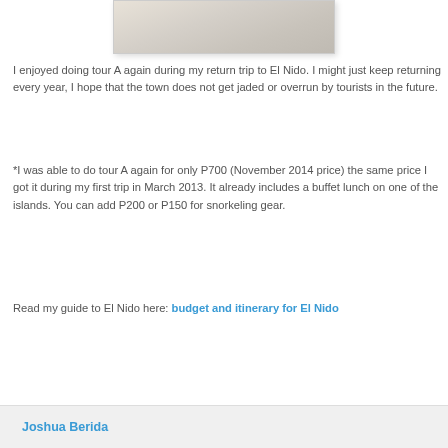[Figure (photo): Partial view of a sandy beach scene, cropped at top of page]
I enjoyed doing tour A again during my return trip to El Nido. I might just keep returning every year, I hope that the town does not get jaded or overrun by tourists in the future.
*I was able to do tour A again for only P700 (November 2014 price) the same price I got it during my first trip in March 2013. It already includes a buffet lunch on one of the islands. You can add P200 or P150 for snorkeling gear.
Read my guide to El Nido here: budget and itinerary for El Nido
Joshua Berida